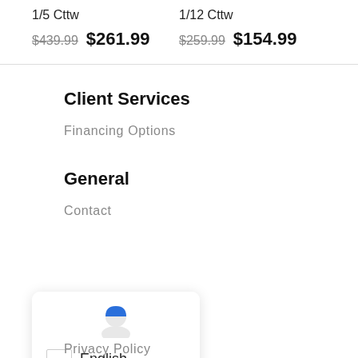1/5 Cttw
$439.99  $261.99
1/12 Cttw
$259.99  $154.99
Client Services
Financing Options
General
Contact
[Figure (other): Language selector popup showing a blue user/globe icon and English language option with a white flag box]
Privacy Policy